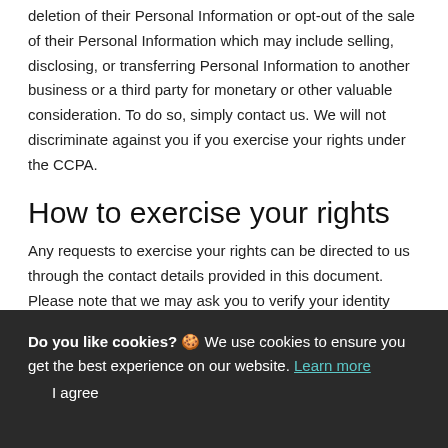deletion of their Personal Information or opt-out of the sale of their Personal Information which may include selling, disclosing, or transferring Personal Information to another business or a third party for monetary or other valuable consideration. To do so, simply contact us. We will not discriminate against you if you exercise your rights under the CCPA.
How to exercise your rights
Any requests to exercise your rights can be directed to us through the contact details provided in this document. Please note that we may ask you to verify your identity before responding to such requests. Your request must
Do you like cookies? 🍪 We use cookies to ensure you get the best experience on our website. Learn more
  I agree